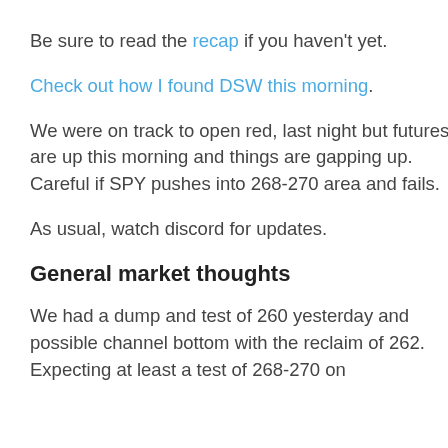Be sure to read the recap if you haven't yet.
Check out how I found DSW this morning.
We were on track to open red, last night but futures are up this morning and things are gapping up.  Careful if SPY pushes into 268-270 area and fails.
As usual, watch discord for updates.
General market thoughts
We had a dump and test of 260 yesterday and possible channel bottom with the reclaim of 262.  Expecting at least a test of 268-270 on